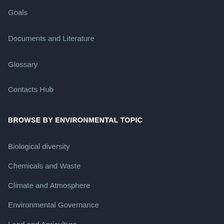Goals
Documents and Literature
Glossary
Contacts Hub
BROWSE BY ENVIRONMENTAL TOPIC
Biological diversity
Chemicals and Waste
Climate and Atmosphere
Environmental Governance
Land and Agriculture
Marine and Freshwater